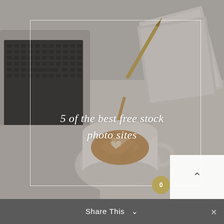[Figure (photo): Flat-lay photo of a latte art coffee cup on a white desk with a laptop keyboard, gold pen, and notebooks. Muted, light grey tones.]
5 of the best free stock photo sites
Share This ∨